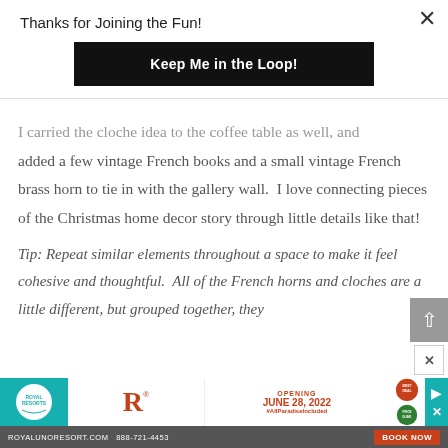Thanks for Joining the Fun!
Keep Me in the Loop!
I carried the cloche idea to the coffee table as well, and added a few vintage French books and a small vintage French brass horn to tie in with the gallery wall. I love connecting pieces of the Christmas home decor story through little details like that!
Tip: Repeat similar elements throughout a space to make it feel cohesive and thoughtful. All of the French horns and cloches are a little different, but grouped together, they
[Figure (other): Royal Resorts advertisement banner: Opening June 28, 2022 #AllParadiseIncluded, royalunoresort.com 888-721-4453, BOOK NOW]